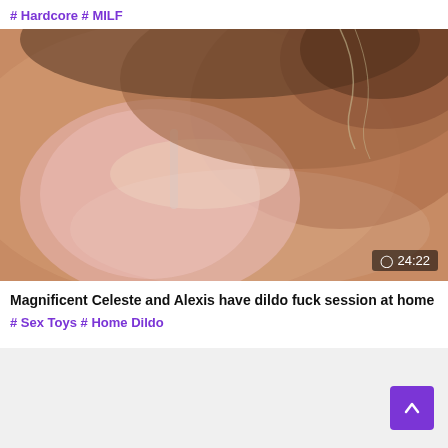# Hardcore # MILF
[Figure (photo): Video thumbnail showing two women in intimate pose, one wearing pink lingerie with lace detail. Duration badge showing 24:22 in bottom right corner.]
Magnificent Celeste and Alexis have dildo fuck session at home
# Sex Toys # Home Dildo